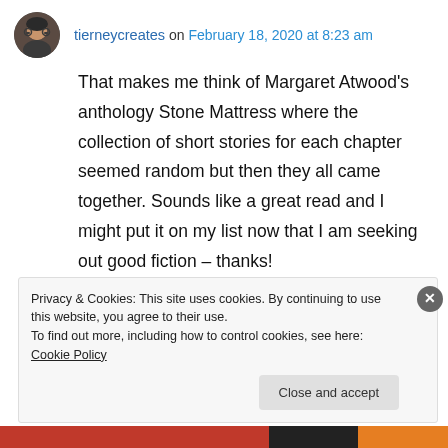tierneycreates on February 18, 2020 at 8:23 am
That makes me think of Margaret Atwood's anthology Stone Mattress where the collection of short stories for each chapter seemed random but then they all came together. Sounds like a great read and I might put it on my list now that I am seeking out good fiction – thanks!
↳ Reply
Privacy & Cookies: This site uses cookies. By continuing to use this website, you agree to their use.
To find out more, including how to control cookies, see here: Cookie Policy
Close and accept